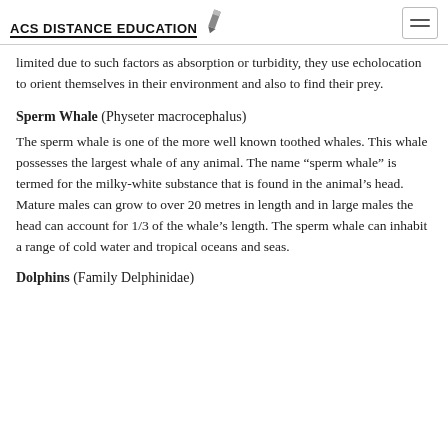ACS Distance Education
limited due to such factors as absorption or turbidity, they use echolocation to orient themselves in their environment and also to find their prey.
Sperm Whale (Physeter macrocephalus)
The sperm whale is one of the more well known toothed whales. This whale possesses the largest whale of any animal. The name “sperm whale” is termed for the milky-white substance that is found in the animal’s head. Mature males can grow to over 20 metres in length and in large males the head can account for 1/3 of the whale’s length. The sperm whale can inhabit a range of cold water and tropical oceans and seas.
Dolphins (Family Delphinidae)